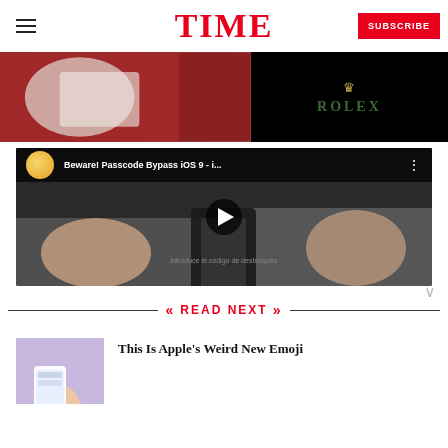TIME — SUBSCRIBE
[Figure (photo): Advertisement banner showing a person in white clothing on left (red/dark background) and ROLEX logo on black background on right]
[Figure (screenshot): YouTube video thumbnail titled 'Beware! Passcode Bypass iOS 9 - i...' showing hands operating an iPhone with a lock screen, with a play button in the center]
READ NEXT
[Figure (photo): Thumbnail showing a hand holding an iPhone with apps visible, on a purple/lavender background]
This Is Apple's Weird New Emoji